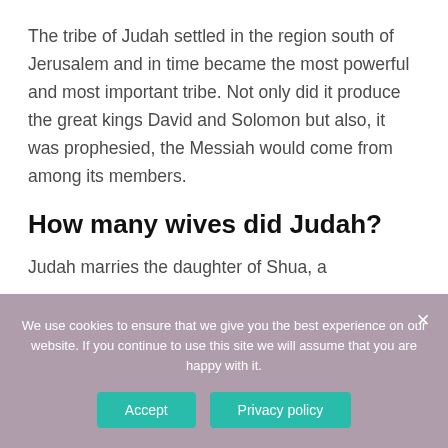The tribe of Judah settled in the region south of Jerusalem and in time became the most powerful and most important tribe. Not only did it produce the great kings David and Solomon but also, it was prophesied, the Messiah would come from among its members.
How many wives did Judah?
Judah marries the daughter of Shua, a
We use cookies to ensure that we give you the best experience on our website. If you continue to use this site we will assume that you are happy with it.